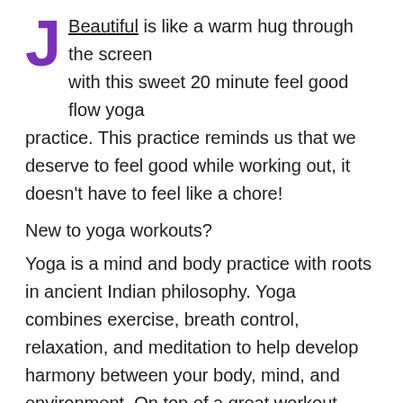J Beautiful is like a warm hug through the screen with this sweet 20 minute feel good flow yoga practice. This practice reminds us that we deserve to feel good while working out, it doesn't have to feel like a chore!
New to yoga workouts?
Yoga is a mind and body practice with roots in ancient Indian philosophy. Yoga combines exercise, breath control, relaxation, and meditation to help develop harmony between your body, mind, and environment. On top of a great workout, yoga's focus on meditation and breath can help improve mental clarity, calmness, and body awareness. Yoga can also help alleviate the mind and body...